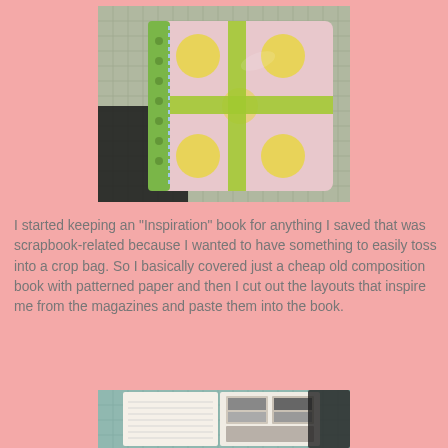[Figure (photo): A handmade composition book covered with pink patterned paper featuring large yellow polka dots and green ribbon/tape forming a cross pattern on the cover, sitting on a cutting mat background.]
I started keeping an "Inspiration" book for anything I saved that was scrapbook-related because I wanted to have something to easily toss into a crop bag. So I basically covered just a cheap old composition book with patterned paper and then I cut out the layouts that inspire me from the magazines and paste them into the book.
[Figure (photo): An open composition book/binder showing scrapbook layout clippings from magazines pasted inside, on a cutting mat background.]